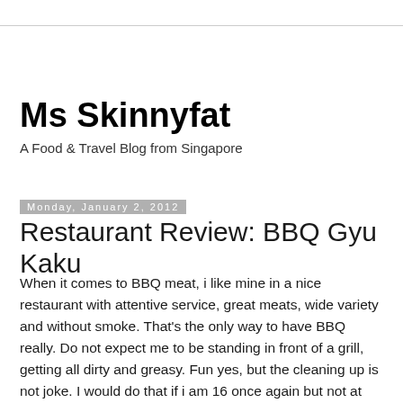Ms Skinnyfat
A Food & Travel Blog from Singapore
Monday, January 2, 2012
Restaurant Review: BBQ Gyu Kaku
When it comes to BBQ meat, i like mine in a nice restaurant with attentive service, great meats, wide variety and without smoke. That's the only way to have BBQ really. Do not expect me to be standing in front of a grill, getting all dirty and greasy. Fun yes, but the cleaning up is not joke. I would do that if i am 16 once again but not at this age. Comfort creatures we are as we grow older.